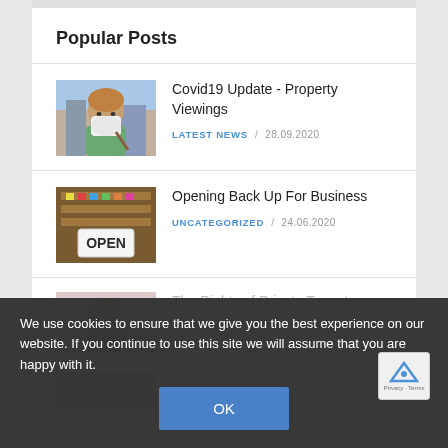Popular Posts
Covid19 Update - Property Viewings
LATEST NEWS / 28.09.2020
Opening Back Up For Business
UNCATEGORIZED / 24.06.2020
The Rights of Private Tenants
DOMAIN / DATE 2020
Fair Rents Bill (Scotland) Bill
We use cookies to ensure that we give you the best experience on our website. If you continue to use this site we will assume that you are happy with it.
OK